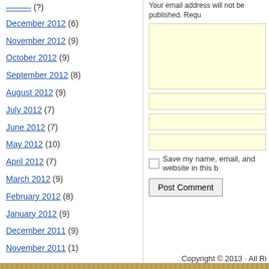December 2012 (6)
November 2012 (9)
October 2012 (9)
September 2012 (8)
August 2012 (9)
July 2012 (7)
June 2012 (7)
May 2012 (10)
April 2012 (7)
March 2012 (9)
February 2012 (8)
January 2012 (9)
December 2011 (9)
November 2011 (1)
Your email address will not be published. Requ
Save my name, email, and website in this b
Post Comment
Copyright © 2013 · All Ri